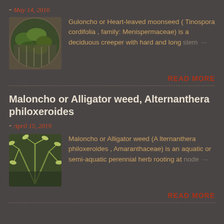- May 14, 2016
[Figure (photo): Photo of Guloncho / Heart-leaved moonseed plant with green leaves on a fence, circular crop]
Guloncho or Heart-leaved moonseed ( Tinospora cordifolia , family: Menispermaceae) is a deciduous creeper with hard and long stem…
READ MORE
Maloncho or Alligator weed, Alternanthera philoxeroides
- April 15, 2019
[Figure (photo): Photo of Maloncho / Alligator weed plant with thin green-yellow leaves]
Maloncho or Alligator weed (A lternanthera philoxeroides , Amaranthaceae) is an aquatic or semi-aquatic perennial herb rooting at node…
READ MORE